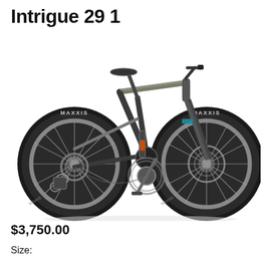Intrigue 29 1
[Figure (photo): Side profile photo of a full-suspension mountain bike (Intrigue 29 1) with dark gray/charcoal frame, silver/tan accents, Maxxis tires labeled on both wheels, SRAM drivetrain, and hydraulic disc brakes. The bike is displayed on a white background.]
$3,750.00
Size: